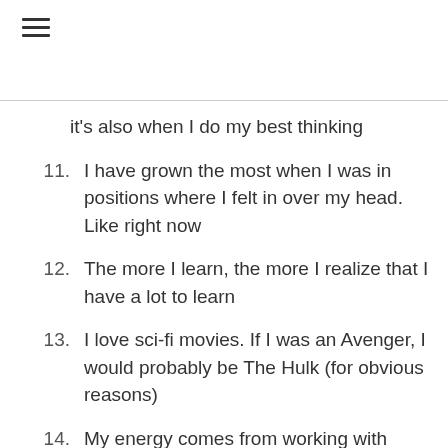≡
it's also when I do my best thinking
11.  I have grown the most when I was in positions where I felt in over my head. Like right now
12.  The more I learn, the more I realize that I have a lot to learn
13.  I love sci-fi movies. If I was an Avenger, I would probably be The Hulk (for obvious reasons)
14.  My energy comes from working with people. Especially those open to getting 'more better'.
15.  I could have been a hockey goalie in the NHL…but apparently I wasn't 'good enough'.